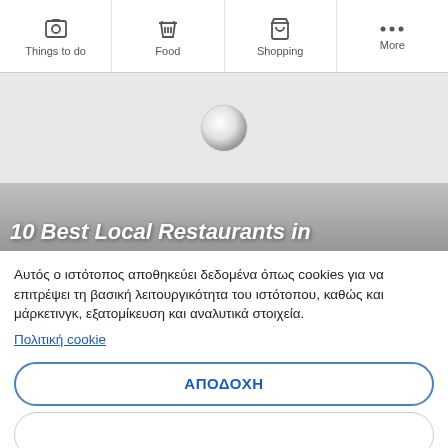Things to do | Food | Shopping | More
[Figure (screenshot): Loading spinner on grey background]
10 Best Local Restaurants in
Αυτός ο ιστότοπος αποθηκεύει δεδομένα όπως cookies για να επιτρέψει τη βασική λειτουργικότητα του ιστότοπου, καθώς και μάρκετινγκ, εξατομίκευση και αναλυτικά στοιχεία. Πολιτική cookie
ΑΠΟΔΟΧΗ